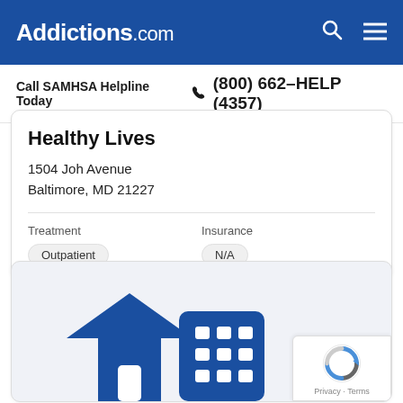Addictions.com
Call SAMHSA Helpline Today  (800) 662-HELP (4357)
Healthy Lives
1504 Joh Avenue
Baltimore, MD 21227
| Treatment | Insurance |
| --- | --- |
| Outpatient | N/A |
[Figure (illustration): Building/house icon in dark blue representing a treatment facility]